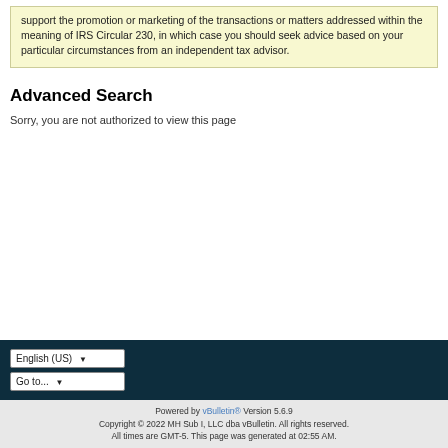support the promotion or marketing of the transactions or matters addressed within the meaning of IRS Circular 230, in which case you should seek advice based on your particular circumstances from an independent tax advisor.
Advanced Search
Sorry, you are not authorized to view this page
English (US) ▼
Go to... ▼
Powered by vBulletin® Version 5.6.9
Copyright © 2022 MH Sub I, LLC dba vBulletin. All rights reserved.
All times are GMT-5. This page was generated at 02:55 AM.